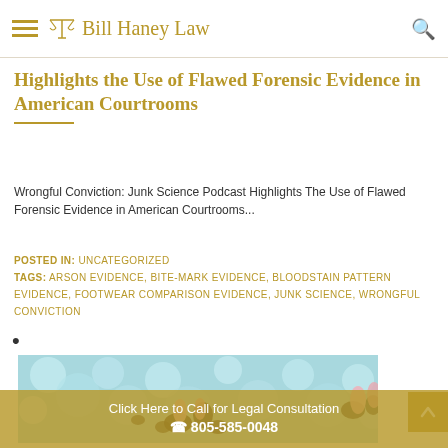Bill Haney Law
Highlights the Use of Flawed Forensic Evidence in American Courtrooms
Wrongful Conviction: Junk Science Podcast Highlights The Use of Flawed Forensic Evidence in American Courtrooms...
POSTED IN: UNCATEGORIZED
TAGS: ARSON EVIDENCE, BITE-MARK EVIDENCE, BLOODSTAIN PATTERN EVIDENCE, FOOTWEAR COMPARISON EVIDENCE, JUNK SCIENCE, WRONGFUL CONVICTION
•
[Figure (photo): Close-up photo showing bloodstain pattern evidence or forensic evidence illustration on a blue/teal background with dark spots and pink shapes]
Click Here to Call for Legal Consultation ☎ 805-585-0048